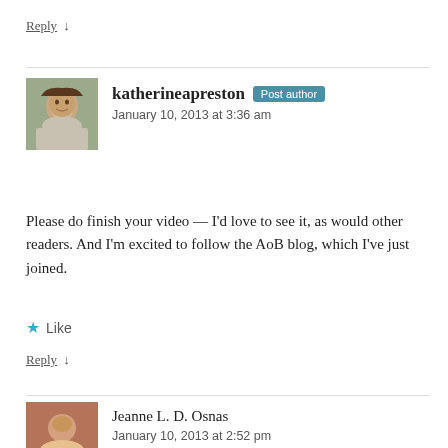Reply ↓
katherineapreston Post author
January 10, 2013 at 3:36 am
Please do finish your video — I'd love to see it, as would other readers. And I'm excited to follow the AoB blog, which I've just joined.
★ Like
Reply ↓
Jeanne L. D. Osnas
January 10, 2013 at 2:52 pm